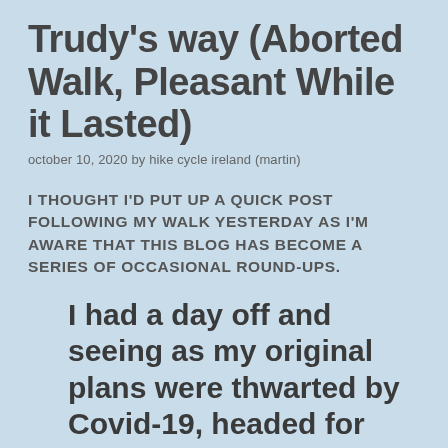Trudy's way (Aborted Walk, Pleasant While it Lasted)
october 10, 2020 by hike cycle ireland (martin)
I THOUGHT I'D PUT UP A QUICK POST FOLLOWING MY WALK YESTERDAY AS I'M AWARE THAT THIS BLOG HAS BECOME A SERIES OF OCCASIONAL ROUND-UPS.
I had a day off and seeing as my original plans were thwarted by Covid-19, headed for the Sperrin